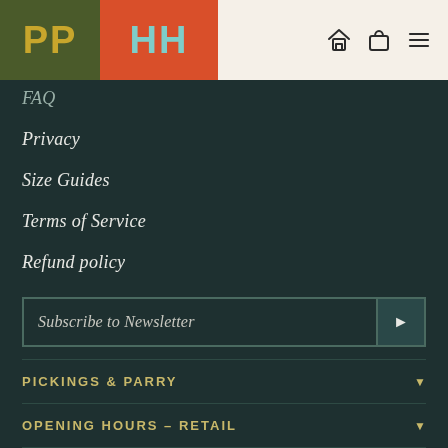[Figure (logo): PP logo on olive green background and HH logo on orange-red background, side by side]
[Figure (infographic): Navigation icons: home, bag/cart, hamburger menu on cream background]
FAQ
Privacy
Size Guides
Terms of Service
Refund policy
Subscribe to Newsletter
PICKINGS & PARRY
OPENING HOURS – RETAIL
OPENING HOURS – BARBERSHOP